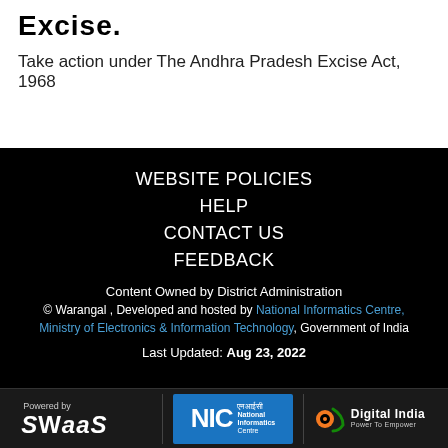Excise.
Take action under The Andhra Pradesh Excise Act, 1968
WEBSITE POLICIES
HELP
CONTACT US
FEEDBACK
Content Owned by District Administration
© Warangal , Developed and hosted by National Informatics Centre, Ministry of Electronics & Information Technology, Government of India
Last Updated: Aug 23, 2022
[Figure (logo): SWaaS logo - Powered by SWaaS text in white on dark background]
[Figure (logo): NIC National Informatics Centre logo on blue background]
[Figure (logo): Digital India - Power To Empower logo with orange/green swirl icon]